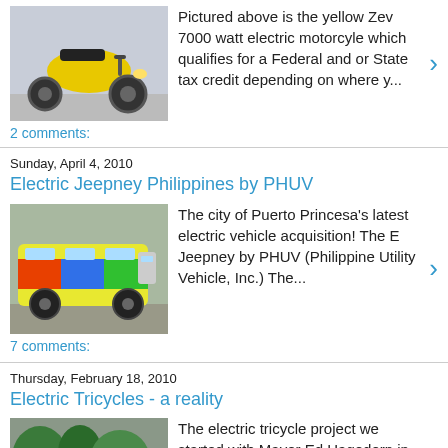[Figure (photo): Yellow Zev 7000 watt electric motorcycle thumbnail]
Pictured above is the yellow Zev 7000 watt electric motorcyle which qualifies for a Federal and or State tax credit depending on where y...
2 comments:
Sunday, April 4, 2010
Electric Jeepney Philippines by PHUV
[Figure (photo): Colorful Philippine jeepney electric vehicle thumbnail]
The city of Puerto Princesa's latest electric vehicle acquisition! The E Jeepney by PHUV (Philippine Utility Vehicle, Inc.) The...
7 comments:
Thursday, February 18, 2010
Electric Tricycles - a reality
[Figure (photo): Electric tricycle thumbnail]
The electric tricycle project we started with Mayor Ed Hagedorn in May of 2009 is finally a reality in Puerto Princesa. We have been testi...